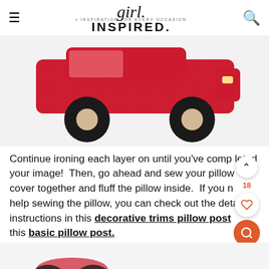girl. INSPIRED. • INSPIRATION FOR EVERY OCCASION
[Figure (illustration): Close-up photo of a red toy car appliqué with glitter fabric body and black felt wheels with beige centers, on a white pillow cover background]
Continue ironing each layer on until you've completed your image!  Then, go ahead and sew your pillow cover together and fluff the pillow inside.  If you need help sewing the pillow, you can check out the detailed instructions in this decorative trims pillow post or this basic pillow post.